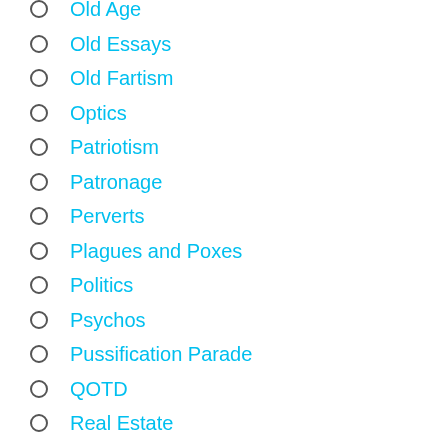Old Age
Old Essays
Old Fartism
Optics
Patriotism
Patronage
Perverts
Plagues and Poxes
Politics
Psychos
Pussification Parade
QOTD
Real Estate
Religion
Resistance
Righteous Shootings
Rights
RINO/GOPe
Science!